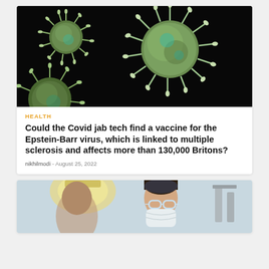[Figure (photo): Microscopic 3D render of green coronavirus/virus particles on black background]
HEALTH
Could the Covid jab tech find a vaccine for the Epstein-Barr virus, which is linked to multiple sclerosis and affects more than 130,000 Britons?
nikhilmodi - August 25, 2022
[Figure (photo): Doctor or medical professional wearing protective glasses and mask in clinical setting]